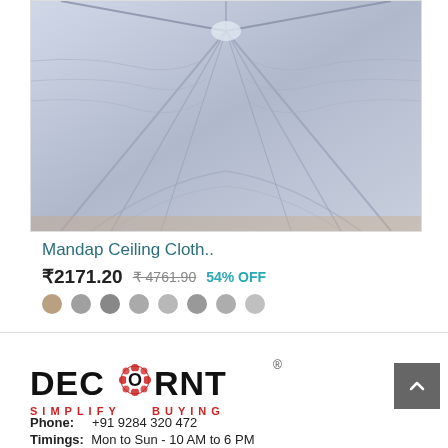[Figure (photo): White fabric draped ceiling cloth arranged in decorative patterns, view from below looking up at a mandap ceiling decoration]
Mandap Ceiling Cloth..
₹2171.20  ₹4761.90  54% OFF
[Figure (other): Color swatches: 8 circular dots in various colors (tan/beige, gray, dark gray, medium gray, light gray, gray, gray, gray)]
[Figure (logo): DECORNT logo with red floral 'O' and tagline SIMPLIFY BUYING in red]
Phone:    +91 9284 320 472
Timings:  Mon to Sun - 10 AM to 6 PM
Email: